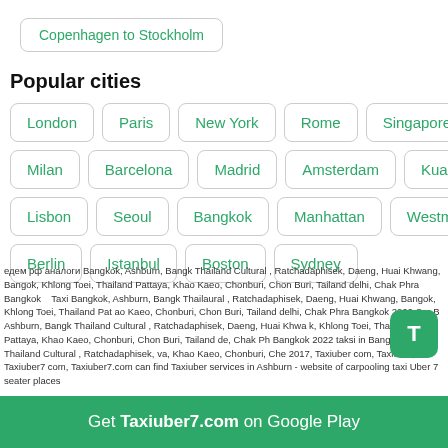Copenhagen to Stockholm
Popular cities
London
Paris
New York
Rome
Singapore
Venice
Milan
Barcelona
Madrid
Amsterdam
Kuala Lumpur
Lisbon
Seoul
Bangkok
Manhattan
Westminster
Berlin
Istanbul
Boston
Sydney
едем рф аналоги Bangkok, Ashburn, Bangk Thailand Cultural , Ratchadaphisek, Daeng, Huai Khwang, Bangok, Khlong Toei, Thailand Pattaya, Khao Kaeo, Chonburi, Chon Buri, Tailand delhi, Chak Phra Bangkok  Taxi Bangkok, Ashburn, Bangk Thailand Cultural , Ratchadaphisek, Daeng, Huai Khwang, Bangok, Khlong Toei, Thailand Pattaya, Khao Kaeo, Chonburi, Chon Buri, Tailand delhi, Chak Phra Bangkok 2022 Car B Ashburn, Bangk Thailand Cultural , Ratchadaphisek, Daeng, Huai Khwang, Bangok, Khlong Toei, Thailand Pattaya, Khao Kaeo, Chonburi, Chon Buri, Tailand delhi, Chak Ph Bangkok 2022 taksi in Bangkok, Bangk Thailand Cultural , Ratchadaphisek, va, Khao Kaeo, Chonburi, Che 2017, Taxiuber com, Taxiuber, Taxiuber7 com, Taxiuber7.com can find Taxiuber services in Ashburn - website of carpooling taxi Uber 7 seater places
Get Taxiuber7.com on Google Play